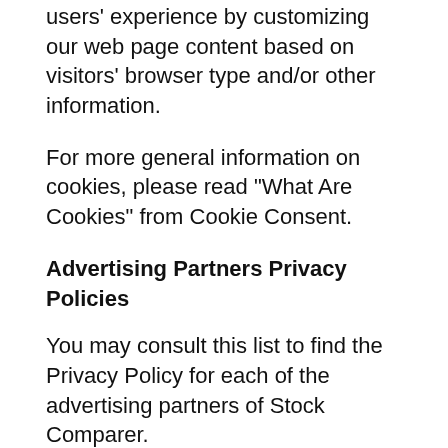users' experience by customizing our web page content based on visitors' browser type and/or other information.
For more general information on cookies, please read "What Are Cookies" from Cookie Consent.
Advertising Partners Privacy Policies
You may consult this list to find the Privacy Policy for each of the advertising partners of Stock Comparer.
As an affiliate of Robinhood, WeBull and Etoro, Stock Comparer earns from any qualifying sign ups
Third-party ad servers or ad networks uses technologies like cookies, JavaScript, or Web Beacons...